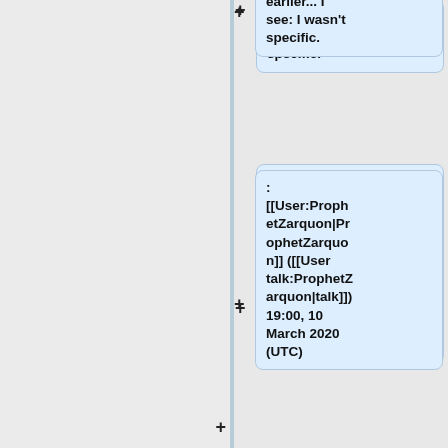earlier... I see: I wasn't specific.
: [[User:ProphetZarquon|ProphetZarquon]] ([[User talk:ProphetZarquon|talk]]) 19:00, 10 March 2020 (UTC)
::I guess I didn't know the meaning of "actionable analytics" in your earlier post!